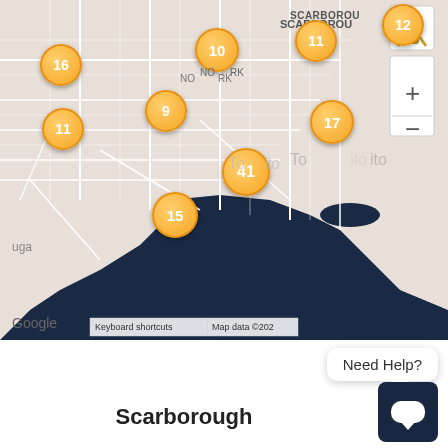[Figure (map): Google Maps screenshot of Toronto/Scarborough area showing orange circular numbered cluster markers at various locations: 16 (upper left), 10 (upper center), 11 (upper center-right), 12 (upper right), 11 (left), 9 (center-left), 17 (center-right), 41 (center), 15 (lower-center-left). Map shows Lake Ontario in dark navy. Labels include SCARBOROUGH, NORTH YORK, ETOBICOKE, Toronto. Map controls visible: street view button, zoom +/- buttons. Google logo and keyboard shortcuts bar visible at bottom of map.]
Need Help?
Scarborough